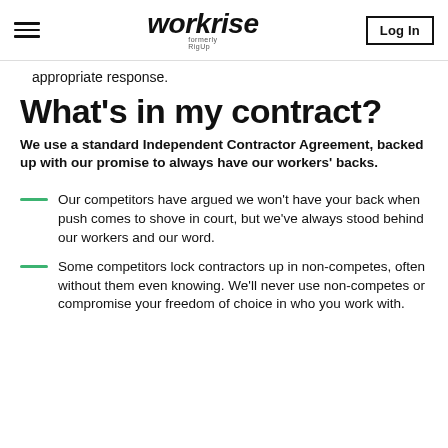workrise (formerly RigUp) — Log In
appropriate response.
What's in my contract?
We use a standard Independent Contractor Agreement, backed up with our promise to always have our workers' backs.
Our competitors have argued we won't have your back when push comes to shove in court, but we've always stood behind our workers and our word.
Some competitors lock contractors up in non-competes, often without them even knowing. We'll never use non-competes or compromise your freedom of choice in who you work with.